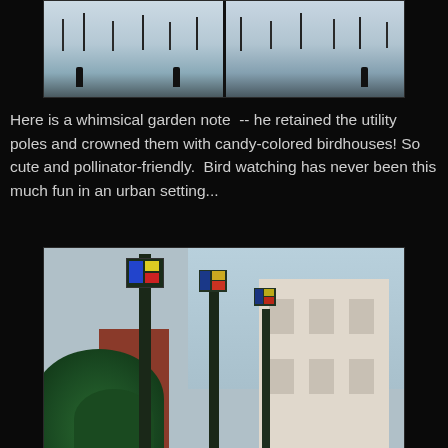[Figure (photo): Two side-by-side winter snow scene photos showing figures walking among bare trees in a snowy landscape]
Here is a whimsical garden note  -- he retained the utility poles and crowned them with candy-colored birdhouses! So cute and pollinator-friendly.  Bird watching has never been this much fun in an urban setting...
[Figure (photo): Urban street scene showing colorful birdhouses mounted on utility poles, with buildings and green foliage visible]